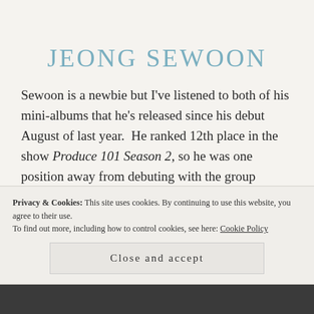JEONG SEWOON
Sewoon is a newbie but I've listened to both of his mini-albums that he's released since his debut August of last year. He ranked 12th place in the show Produce 101 Season 2, so he was one position away from debuting with the group Wanna One which is so surreal to think about because I couldn't imagine him in a
Privacy & Cookies: This site uses cookies. By continuing to use this website, you agree to their use.
To find out more, including how to control cookies, see here: Cookie Policy
Close and accept